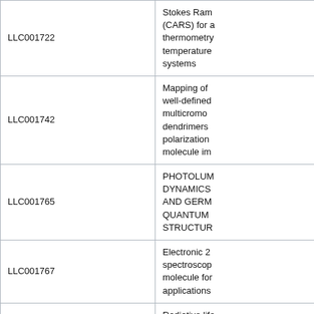| ID | Description |
| --- | --- |
| LLC001722 | Stokes Raman (CARS) for a thermometry temperature systems |
| LLC001742 | Mapping of well-defined multichromodendrimers polarization molecule im |
| LLC001765 | PHOTOLUM DYNAMICS AND GERM QUANTUM STRUCTUR |
| LLC001767 | Electronic 2 spectroscop molecule for applications |
| LLC001837 | Radiative life and Tb II ex |
| LOA001499 | Nonlinear op transformati polarization circularly po with hologra cubic crysta |
| LOA001506 | Coherently c transitions fo applications change mem |
|  | High Harmo |